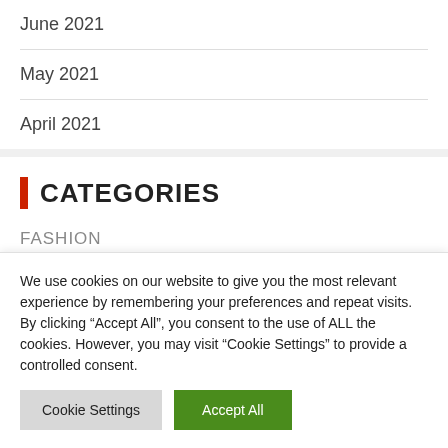June 2021
May 2021
April 2021
CATEGORIES
FASHION
We use cookies on our website to give you the most relevant experience by remembering your preferences and repeat visits. By clicking “Accept All”, you consent to the use of ALL the cookies. However, you may visit "Cookie Settings" to provide a controlled consent.
Cookie Settings | Accept All